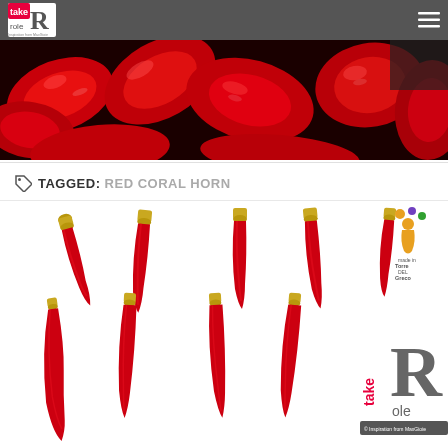take Role - Inspiration from MaxGioie
[Figure (photo): Close-up photo of glossy red chili peppers/bell peppers filling the frame]
TAGGED: RED CORAL HORN
[Figure (photo): Red coral horn pendants (cornicelli) with gold fittings, arranged in two rows of five, plus Made in Torre del Greco logo and takeRole logo with copyright Inspiration from MaxGioie]